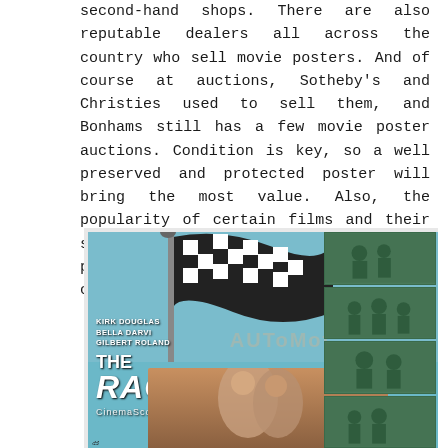second-hand shops. There are also reputable dealers all across the country who sell movie posters. And of course at auctions, Sotheby's and Christies used to sell them, and Bonhams still has a few movie poster auctions. Condition is key, so a well preserved and protected poster will bring the most value. Also, the popularity of certain films and their stars are major reasons why one movie poster will sell for $24 and another can sell for $2,500.
[Figure (photo): Movie lobby card / poster for 'The Racers' (CinemaScope) featuring Kirk Douglas, Bella Darvi, Gilbert Roland. Left side shows a blue poster with checkered racing flag and embracing figures. Right side shows four black-and-white film still photos in green tint. A watermark is overlaid on the image.]